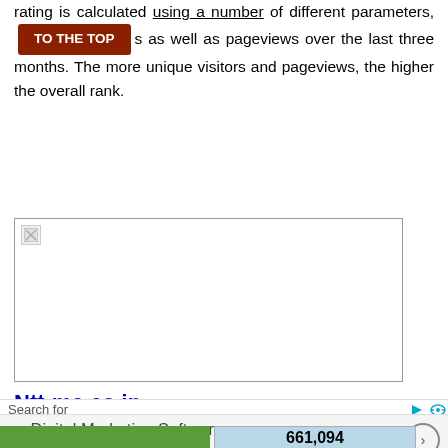rating is calculated using a number of different parameters, such as daily average [visitors] as well as pageviews over the last three months. The more unique visitors and pageviews, the higher the overall rank.
[Figure (other): Broken/placeholder image with a border, approximately 387x162px, showing a small broken image icon in the top-left corner.]
Ntt-me.co.jp
[Figure (other): Two-part bar: left is dark red/brown solid bar, right is light blue box displaying '861,894' in bold text.]
Search for
1. Digital Marketing Software Online
[Figure (other): Bottom row: left green bar and right light blue box displaying '661,094' in bold text.]